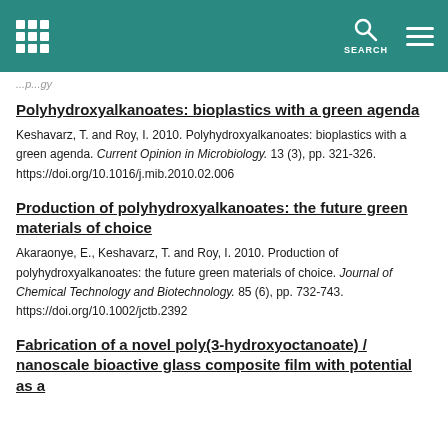SEARCH
...p...gy
Polyhydroxyalkanoates: bioplastics with a green agenda
Keshavarz, T. and Roy, I. 2010. Polyhydroxyalkanoates: bioplastics with a green agenda. Current Opinion in Microbiology. 13 (3), pp. 321-326. https://doi.org/10.1016/j.mib.2010.02.006
Production of polyhydroxyalkanoates: the future green materials of choice
Akaraonye, E., Keshavarz, T. and Roy, I. 2010. Production of polyhydroxyalkanoates: the future green materials of choice. Journal of Chemical Technology and Biotechnology. 85 (6), pp. 732-743. https://doi.org/10.1002/jctb.2392
Fabrication of a novel poly(3-hydroxyoctanoate) / nanoscale bioactive glass composite film with potential as a